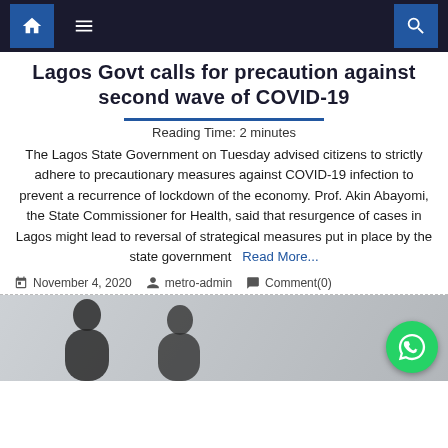Navigation bar with home icon, menu icon, and search icon
Lagos Govt calls for precaution against second wave of COVID-19
Reading Time: 2 minutes
The Lagos State Government on Tuesday advised citizens to strictly adhere to precautionary measures against COVID-19 infection to prevent a recurrence of lockdown of the economy. Prof. Akin Abayomi, the State Commissioner for Health, said that resurgence of cases in Lagos might lead to reversal of strategical measures put in place by the state government
Read More...
November 4, 2020  metro-admin  Comment(0)
[Figure (photo): Two silhouetted figures (business people) standing, blurred background, with WhatsApp icon in bottom right corner]